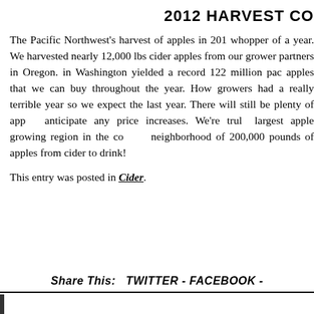2012 HARVEST CO
The Pacific Northwest's harvest of apples in 20[12 was a] whopper of a year. We harvested nearly 12,000 lbs [of] cider apples from our grower partners in Oregon. [The crop] in Washington yielded a record 122 million pac[ks of] apples that we can buy throughout the year. How[ever,] growers had a really terrible year so we expect the [price of] last year. There will still be plenty of app[les; we don't] anticipate any price increases. We're trul[y in the] largest apple growing region in the co[untry — in the] neighborhood of 200,000 pounds of apples from[…] cider to drink!
This entry was posted in Cider.
Share This:   TWITTER  -  FACEBOOK  -